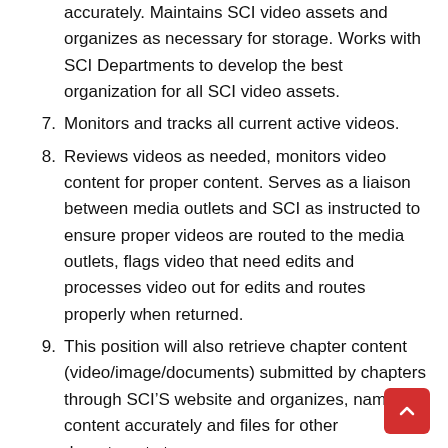accurately. Maintains SCI video assets and organizes as necessary for storage. Works with SCI Departments to develop the best organization for all SCI video assets.
7. Monitors and tracks all current active videos.
8. Reviews videos as needed, monitors video content for proper content. Serves as a liaison between media outlets and SCI as instructed to ensure proper videos are routed to the media outlets, flags video that need edits and processes video out for edits and routes properly when returned.
9. This position will also retrieve chapter content (video/image/documents) submitted by chapters through SCI’S website and organizes, names content accurately and files for other departments to access.
10. Serve as a liaison between SCIF and SCI by retrieving SCIF shared content from designated folders and